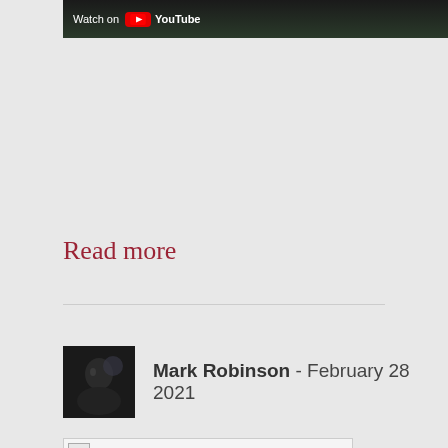[Figure (screenshot): YouTube video thumbnail with 'Watch on YouTube' overlay text and YouTube logo on dark background with green foliage]
Read more
[Figure (photo): Author avatar photo of Mark Robinson - dark portrait photo]
Mark Robinson - February 28 2021
[Figure (photo): Article thumbnail image (broken/loading image placeholder)]